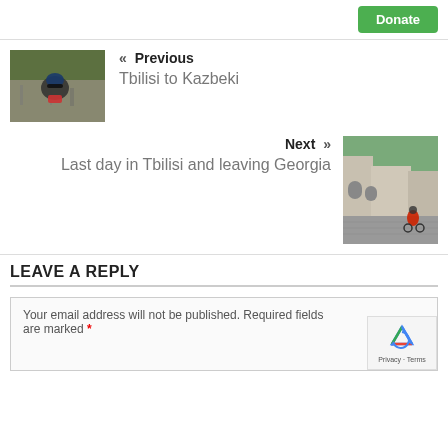Donate
[Figure (photo): Photo of a cyclist wearing a helmet and sunglasses on a damaged road]
« Previous
Tbilisi to Kazbeki
Next »
Last day in Tbilisi and leaving Georgia
[Figure (photo): Photo of a cyclist with a red backpack on a cobblestone street in Tbilisi]
LEAVE A REPLY
Your email address will not be published. Required fields are marked *